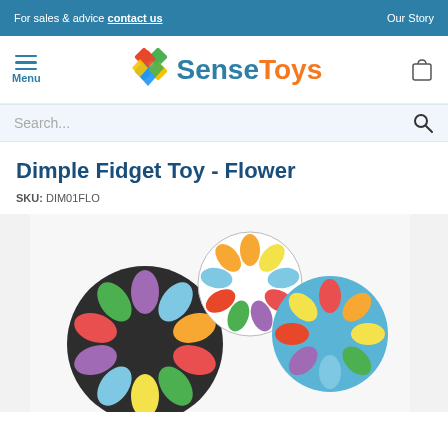For sales & advice contact us   Our Story
[Figure (logo): SenseToys logo with colorful diamond icon and menu/cart navigation]
Search...
Dimple Fidget Toy - Flower
SKU: DIM01FLO
[Figure (photo): Photo of two flower-shaped dimple fidget toys with colorful petals on a white background]